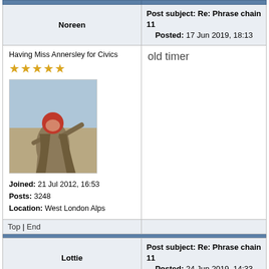|  | Post |
| --- | --- |
| Noreen | Post subject: Re: Phrase chain 11
Posted: 17 Jun 2019, 18:13 |
| Having Miss Annersley for Civics
★★★★★
[avatar image]
Joined: 21 Jul 2012, 16:53
Posts: 3248
Location: West London Alps | old timer |
| Top | End |  |
| Lottie | Post subject: Re: Phrase chain 11
Posted: 24 Jun 2019, 14:33 |
| Toothache!
Joined: 02 Jul 2005, 07:56
Posts: 1495
Location: Humphrey's Corner | time-release

A schoolgirl answered the question 'In what countries are elephants found?' 'Elephants are very large |